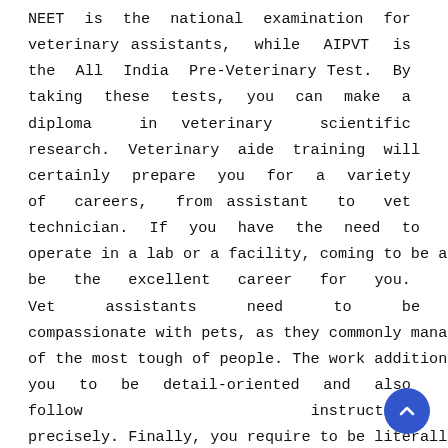NEET is the national examination for veterinary assistants, while AIPVT is the All India Pre-Veterinary Test. By taking these tests, you can make a diploma in veterinary scientific research. Veterinary aide training will certainly prepare you for a variety of careers, from assistant to vet technician. If you have the need to operate in a lab or a facility, coming to be a vet aide might be the excellent career for you. Vet assistants need to be compassionate with pets, as they commonly manage one of the most tough of people. The work additionally needs you to be detail-oriented and also follow instructions precisely. Finally, you require to be literally solid and also dexterous. There are numerous ways to become a vet assistant, and also it is very important to discover a school that uses a course in your location. The SJVC vet assistant program is ideal for those that are interested in working with animals. It uses a certificate of completion.